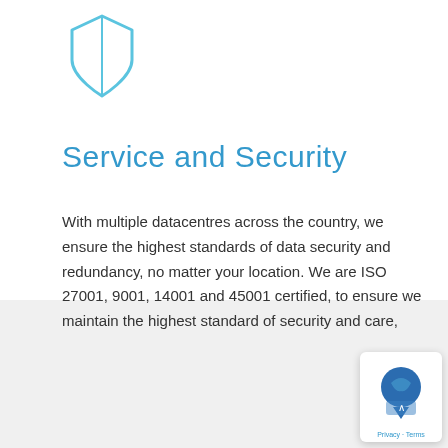[Figure (illustration): A light blue outline shield icon with a vertical line dividing it, positioned at the top left area of the page.]
Service and Security
With multiple datacentres across the country, we ensure the highest standards of data security and redundancy, no matter your location. We are ISO 27001, 9001, 14001 and 45001 certified, to ensure we maintain the highest standard of security and care,
[Figure (screenshot): A small chat/help widget in the bottom right corner with a blue icon and 'Privacy · Terms' text at the bottom.]